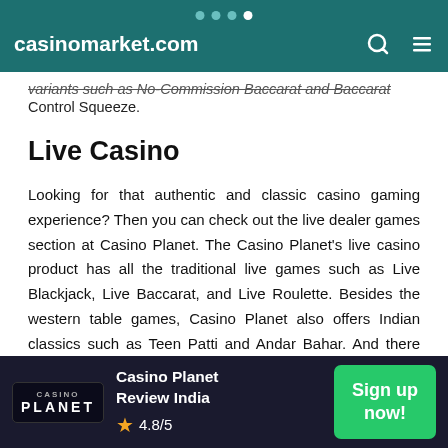casinomarket.com
variants such as No-Commission Baccarat and Baccarat Control Squeeze.
Live Casino
Looking for that authentic and classic casino gaming experience? Then you can check out the live dealer games section at Casino Planet. The Casino Planet's live casino product has all the traditional live games such as Live Blackjack, Live Baccarat, and Live Roulette. Besides the western table games, Casino Planet also offers Indian classics such as Teen Patti and Andar Bahar. And there are Asian casino games like Dragon Tiger, Dream Catcher,
Casino Planet Review India 4.8/5 Sign up now!